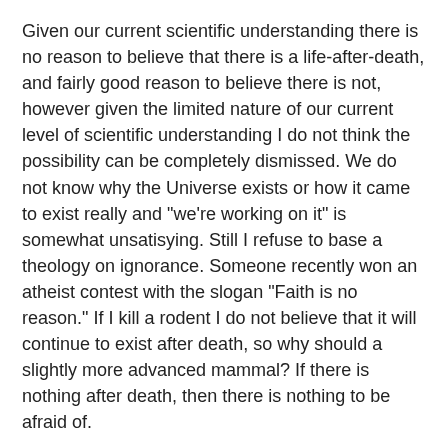Given our current scientific understanding there is no reason to believe that there is a life-after-death, and fairly good reason to believe there is not, however given the limited nature of our current level of scientific understanding I do not think the possibility can be completely dismissed. We do not know why the Universe exists or how it came to exist really and "we're working on it" is somewhat unsatisying. Still I refuse to base a theology on ignorance. Someone recently won an atheist contest with the slogan "Faith is no reason." If I kill a rodent I do not believe that it will continue to exist after death, so why should a slightly more advanced mammal? If there is nothing after death, then there is nothing to be afraid of.
The problem with the god hypothesis (and is it really even a hypothesis?--certainly it is not testible) is that it really doesn't explain anything. I cannot explain the Universe, therefore it must have been made out of nothing by some Entity, which actually sounds kind of creepy to me.
Speaking of atheist quotes, however, I like one by Christopher Hitchens: "What can be accepted without